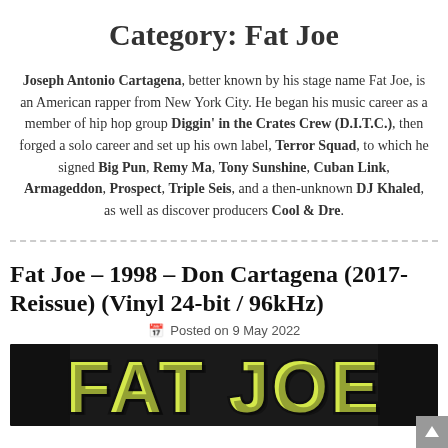Category: Fat Joe
Joseph Antonio Cartagena, better known by his stage name Fat Joe, is an American rapper from New York City. He began his music career as a member of hip hop group Diggin' in the Crates Crew (D.I.T.C.), then forged a solo career and set up his own label, Terror Squad, to which he signed Big Pun, Remy Ma, Tony Sunshine, Cuban Link, Armageddon, Prospect, Triple Seis, and a then-unknown DJ Khaled, as well as discover producers Cool & Dre.
Fat Joe – 1998 – Don Cartagena (2017-Reissue) (Vinyl 24-bit / 96kHz)
Posted on 9 May 2022
[Figure (photo): Album cover image showing 'FAT JOE' text in large yellow letters with dark outline on a dark background]